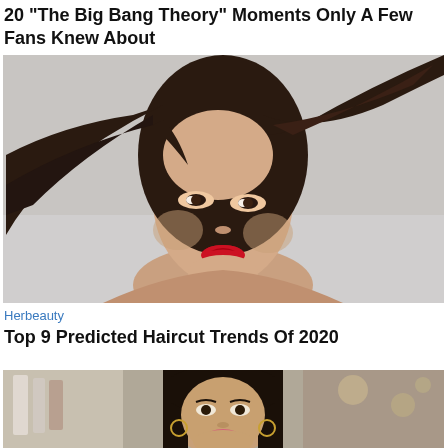20 "The Big Bang Theory" Moments Only A Few Fans Knew About
[Figure (photo): Portrait photo of an Asian woman with long dark hair, red lipstick, against a light grey background. Hair is blowing to one side.]
Herbeauty
Top 9 Predicted Haircut Trends Of 2020
[Figure (photo): Photo of a woman with long straight dark hair, wearing hoop earrings, in an indoor setting with clothing racks and blurred background.]